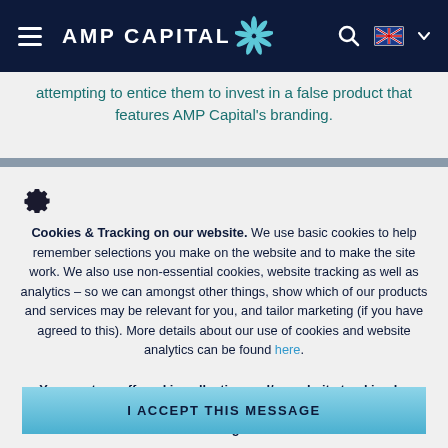AMP CAPITAL [logo]
attempting to entice them to invest in a false product that features AMP Capital's branding.
Cookies & Tracking on our website. We use basic cookies to help remember selections you make on the website and to make the site work. We also use non-essential cookies, website tracking as well as analytics – so we can amongst other things, show which of our products and services may be relevant for you, and tailor marketing (if you have agreed to this). More details about our use of cookies and website analytics can be found here. You can turn off cookie collection and/or website tracking by updating your cookies & tracking preferences in your browser settings.
I ACCEPT THIS MESSAGE